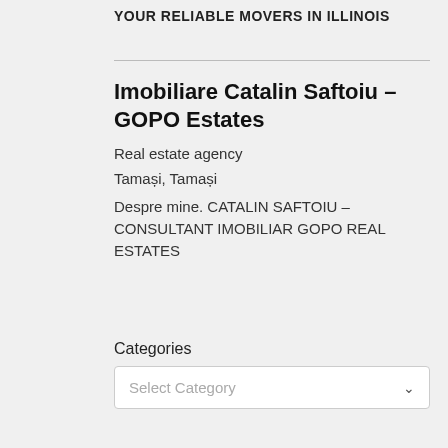YOUR RELIABLE MOVERS IN ILLINOIS
Imobiliare Catalin Saftoiu – GOPO Estates
Real estate agency
Tamași, Tamași
Despre mine. CATALIN SAFTOIU – CONSULTANT IMOBILIAR GOPO REAL ESTATES
Categories
Select Category